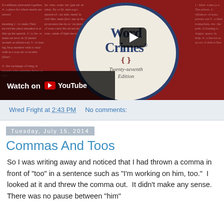[Figure (screenshot): YouTube video thumbnail showing 'Word Crimes Twenty-seventh Edition' dictionary-style book cover with a play button overlay and 'Watch on YouTube' bar at bottom left. Background is dark red with dictionary text.]
Wred Fright at 2:43 PM    No comments:
Tuesday, July 15, 2014
Commas And Toos
So I was writing away and noticed that I had thrown a comma in front of "too" in a sentence such as "I'm working on him, too."  I looked at it and threw the comma out.  It didn't make any sense.  There was no pause between "him"